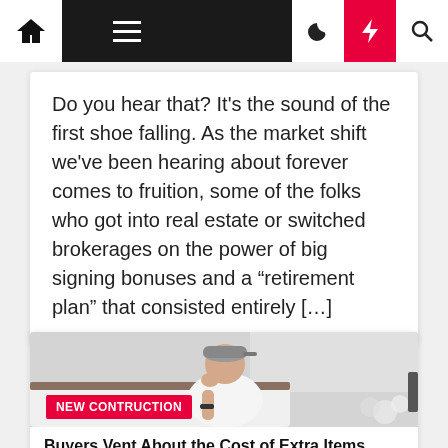Navigation bar with home, menu, moon, lightning, search icons
Do you hear that? It's the sound of the first shoe falling. As the market shift we've been hearing about forever comes to fruition, some of the folks who got into real estate or switched brokerages on the power of big signing bonuses and a “retirement plan” that consisted entirely […]
[Figure (photo): Person wearing a grey cap, resting head on hand, looking stressed or thoughtful, sitting near a bed with white bedding and flowers]
NEW CONTRUCTION
Buyers Vent About the Cost of Extra Items Their